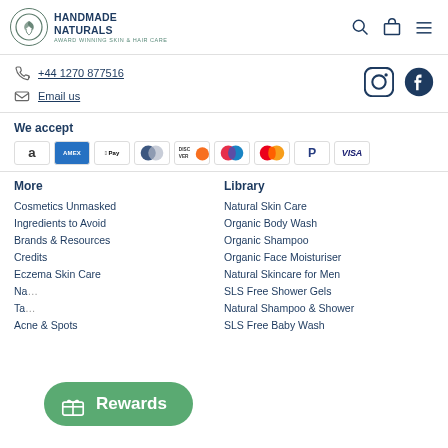HANDMADE NATURALS AWARD WINNING SKIN & HAIR CARE
+44 1270 877516
Email us
We accept
[Figure (logo): Payment method icons: Amazon, Amex, Apple Pay, Diners, Discover, Maestro, Mastercard, PayPal, Visa]
More
Library
Cosmetics Unmasked
Ingredients to Avoid
Brands & Resources
Credits
Eczema Skin Care
Na...
Tar...
Acne & Spots
Natural Skin Care
Organic Body Wash
Organic Shampoo
Organic Face Moisturiser
Natural Skincare for Men
SLS Free Shower Gels
Natural Shampoo & Shower
SLS Free Baby Wash
[Figure (other): Rewards button with gift icon]